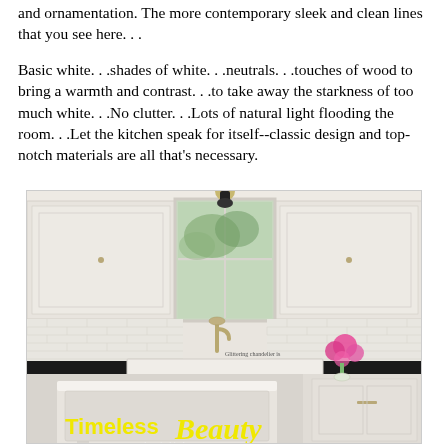and ornamentation. The more contemporary sleek and clean lines that you see here. . .
Basic white. . .shades of white. . .neutrals. . .touches of wood to bring a warmth and contrast. . .to take away the starkness of too much white. . .No clutter. . .Lots of natural light flooding the room. . .Let the kitchen speak for itself--classic design and top-notch materials are all that's necessary.
[Figure (photo): Magazine photo of a white classic kitchen with subway tile backsplash, farmhouse sink, white cabinetry, marble countertops, and a window above the sink. Overlaid text reads 'Timeless Beauty' and 'Classic kitchen opens up—']